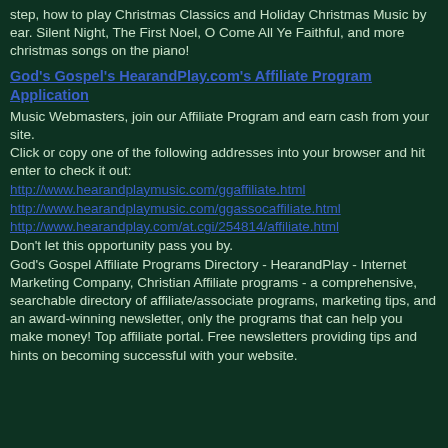step, how to play Christmas Classics and Holiday Christmas Music by ear. Silent Night, The First Noel, O Come All Ye Faithful, and more christmas songs on the piano!
God's Gospel's HearandPlay.com's Affiliate Program Application
Music Webmasters, join our Affiliate Program and earn cash from your site.
Click or copy one of the following addresses into your browser and hit enter to check it out:
http://www.hearandplaymusic.com/ggaffiliate.html
http://www.hearandplaymusic.com/ggassocaffiliate.html
http://www.hearandplay.com/at.cgi/254814/affiliate.html
Don't let this opportunity pass you by.
God's Gospel Affiliate Programs Directory - HearandPlay - Internet Marketing Company, Christian Affiliate programs - a comprehensive, searchable directory of affiliate/associate programs, marketing tips, and an award-winning newsletter, only the programs that can help you make money! Top affiliate portal. Free newsletters providing tips and hints on becoming successful with your website.